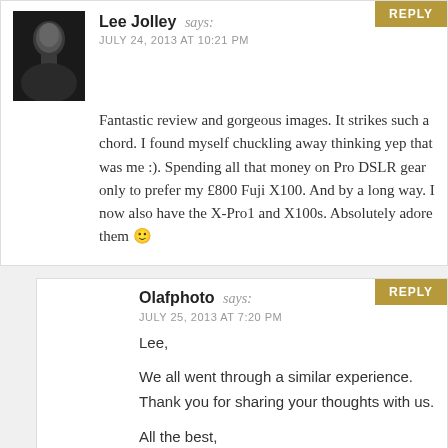Lee Jolley says:
JULY 24, 2013 AT 10:21 PM
Fantastic review and gorgeous images. It strikes such a chord. I found myself chuckling away thinking yep that was me :). Spending all that money on Pro DSLR gear only to prefer my £800 Fuji X100. And by a long way. I now also have the X-Pro1 and X100s. Absolutely adore them 🙂
Olafphoto says:
JULY 25, 2013 AT 7:20 PM
Lee,

We all went through a similar experience. Thank you for sharing your thoughts with us.

All the best,

Olaf